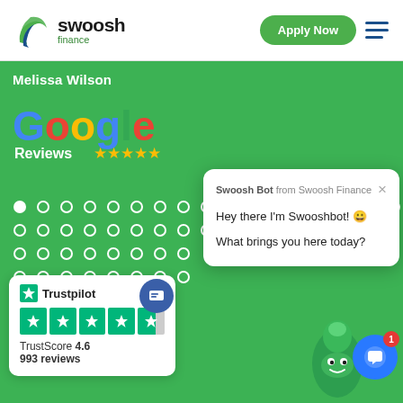[Figure (logo): Swoosh Finance logo with green and blue swoosh icon, text 'swoosh' in dark and 'finance' in green]
[Figure (screenshot): Apply Now green button and hamburger menu icon in header]
Melissa Wilson
[Figure (logo): Google Reviews logo with colorful Google text and five gold stars]
[Figure (other): Grid of circular dots/pagination indicators on green background]
[Figure (screenshot): Swoosh Bot chat popup: 'Swoosh Bot from Swoosh Finance', 'Hey there I'm Swooshbot! 😀', 'What brings you here today?']
[Figure (logo): Trustpilot card showing TrustScore 4.6 with 993 reviews and star rating]
[Figure (other): Blue chat icon button with red notification badge showing 1]